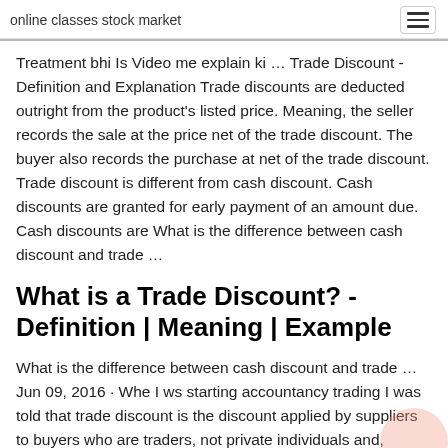online classes stock market
Treatment bhi Is Video me explain ki … Trade Discount - Definition and Explanation Trade discounts are deducted outright from the product's listed price. Meaning, the seller records the sale at the price net of the trade discount. The buyer also records the purchase at net of the trade discount. Trade discount is different from cash discount. Cash discounts are granted for early payment of an amount due. Cash discounts are What is the difference between cash discount and trade …
What is a Trade Discount? - Definition | Meaning | Example
What is the difference between cash discount and trade … Jun 09, 2016 · Whe I ws starting accountancy trading I was told that trade discount is the discount applied by suppliers to buyers who are traders, not private individuals and, therefore, likely to